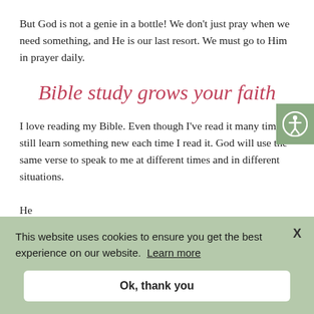But God is not a genie in a bottle! We don't just pray when we need something, and He is our last resort. We must go to Him in prayer daily.
Bible study grows your faith
I love reading my Bible. Even though I've read it many times, I still learn something new each time I read it. God will use the same verse to speak to me at different times and in different situations.
He... "For... tha... of s... discerning the thoughts and intentions of the heart. ESV
This website uses cookies to ensure you get the best experience on our website. Learn more
Ok, thank you